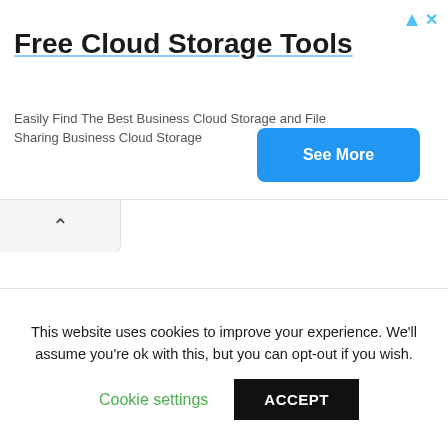Free Cloud Storage Tools
Easily Find The Best Business Cloud Storage and File Sharing Business Cloud Storage
[Figure (other): Blue 'See More' button in advertisement banner]
[Figure (other): Collapse/chevron-up tab button below ad banner]
This website uses cookies to improve your experience. We'll assume you're ok with this, but you can opt-out if you wish.
Cookie settings
ACCEPT